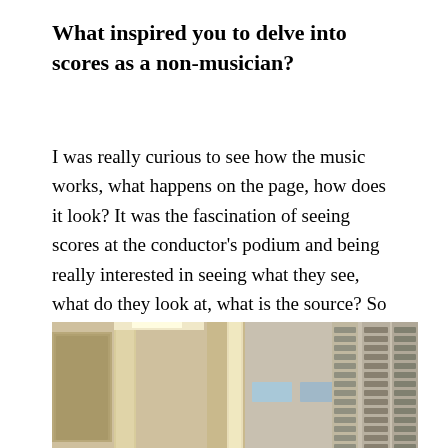What inspired you to delve into scores as a non-musician?
I was really curious to see how the music works, what happens on the page, how does it look? It was the fascination of seeing scores at the conductor's podium and being really interested in seeing what they see, what do they look at, what is the source? So at first it was simply curiosity, and kind of like, can I read through it? Can I follow a performance from it? It was a challenge.
[Figure (photo): Interior/exterior building photo showing corridor walls and a building facade with louvered windows and architectural details, warm beige/tan coloring.]